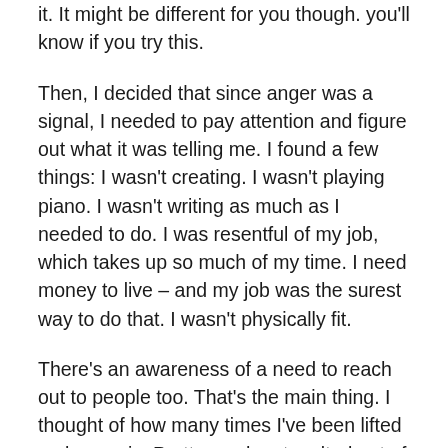it.  It might be different for you though.  you'll know if you try this.
Then, I decided that since anger was a signal, I needed to pay attention and figure out what it was telling me.   I found a few things:  I wasn't creating.  I wasn't playing piano.  I wasn't writing as much as I needed to do.   I was resentful of my job, which takes up so much of my time.  I need money to live – and my job was the surest way to do that.  I wasn't physically fit.
There's an awareness of a need to reach out to people too.  That's the main thing.  I thought of how many times I've been lifted up by music.  Pretty much catapulted out of a threatened depression and dropped into joy – because of music.  I've done the same thing when I've created and played music too.   The clearest example was at the death of my father, a man that I truthfully hated for much of my